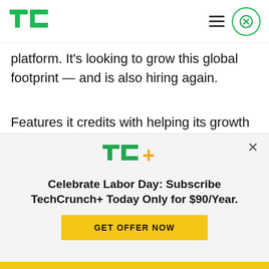TechCrunch logo, hamburger menu, close button
platform. It's looking to grow this global footprint — and is also hiring again.
Features it credits with helping its growth include a new location-based pricing feature that offers geo-based discounts; a refreshed loyalty program offering even deeper discounts for repeat bookers; and the expansion of its in-app message-based
[Figure (logo): TechCrunch+ logo in green and orange-yellow]
Celebrate Labor Day: Subscribe TechCrunch+ Today Only for $90/Year.
GET OFFER NOW